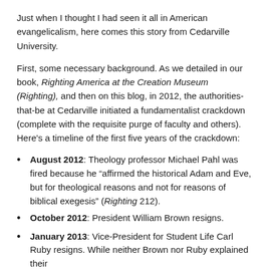Just when I thought I had seen it all in American evangelicalism, here comes this story from Cedarville University.
First, some necessary background. As we detailed in our book, Righting America at the Creation Museum (Righting), and then on this blog, in 2012, the authorities-that-be at Cedarville initiated a fundamentalist crackdown (complete with the requisite purge of faculty and others). Here's a timeline of the first five years of the crackdown:
August 2012: Theology professor Michael Pahl was fired because he “afﬁrmed the historical Adam and Eve, but for theological reasons and not for reasons of biblical exegesis” (Righting 212).
October 2012: President William Brown resigns.
January 2013: Vice-President for Student Life Carl Ruby resigns. While neither Brown nor Ruby explained their